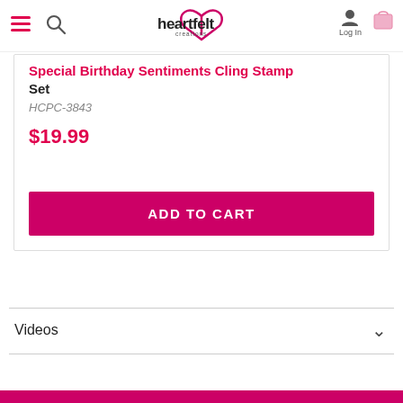Heartfelt Creations — navigation header with hamburger menu, search, logo, Log In, cart
Special Birthday Sentiments Cling Stamp Set
HCPC-3843
$19.99
ADD TO CART
Videos